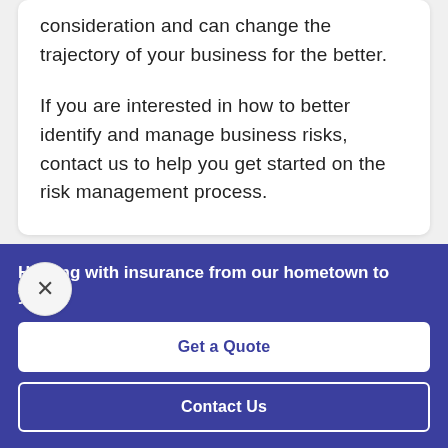consideration and can change the trajectory of your business for the better.

If you are interested in how to better identify and manage business risks, contact us to help you get started on the risk management process.
Helping with insurance from our hometown to yours.
Get a Quote
Contact Us